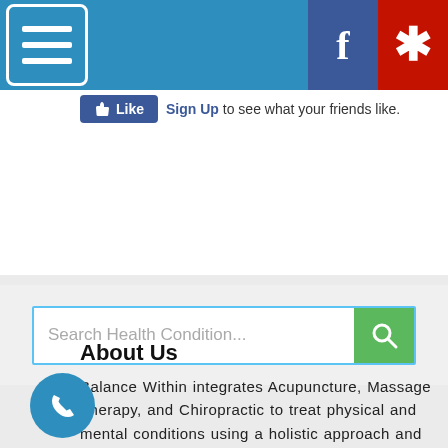[Figure (screenshot): Blue navigation bar with hamburger menu icon on left, Facebook icon (dark blue) and Yelp icon (red) on right]
[Figure (screenshot): Facebook Like button with thumbs up icon and 'Sign Up to see what your friends like.' text]
[Figure (screenshot): Search bar with placeholder text 'Search Health Condition...' and green search button with magnifying glass icon]
About Us
Balance Within integrates Acupuncture, Massage Therapy, and Chiropractic to treat physical and mental conditions using a holistic approach and traditional chinese medicine.  We treat many health issues without the use of harsh chemicals.
[Figure (illustration): Blue circular phone call button at bottom left]